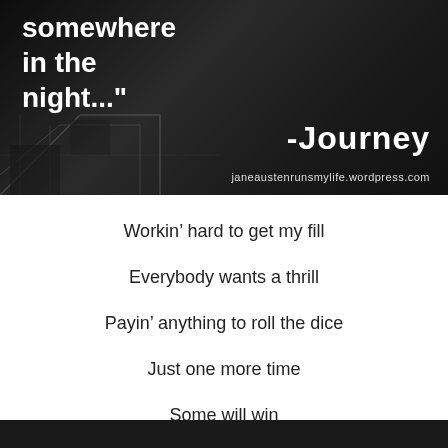[Figure (illustration): Dark black and white image with staircase/balcony in background. Text overlay reads: somewhere in the night... -Journey, janeaustenrunsmylife.wordpress.com]
Workin' hard to get my fill
Everybody wants a thrill
Payin' anything to roll the dice
Just one more time
Some will win
Some will lose
Some were born to sing the blues
Oh, the movie never ends
It goes on and on and on and on